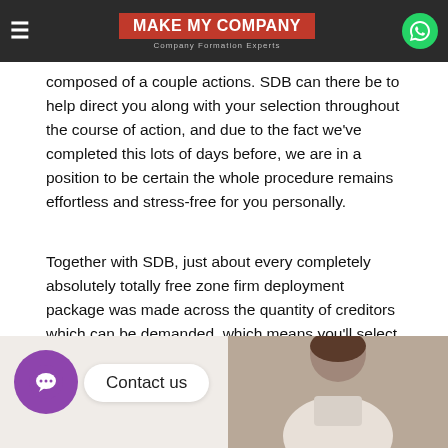MAKE MY COMPANY — Company Formation Experts
composed of a couple actions. SDB can there be to help direct you along with your selection throughout the course of action, and due to the fact we've completed this lots of days before, we are in a position to be certain the whole procedure remains effortless and stress-free for you personally.
Together with SDB, just about every completely absolutely totally free zone firm deployment package was made across the quantity of creditors which can be demanded, which means you'll select the bundle which is most appropriate for your demands. The concluding price is based upon the true variety of creditors you will require.
[Figure (photo): Contact us banner with purple chat bubble icon, 'Contact us' pill label, and a person in the background]